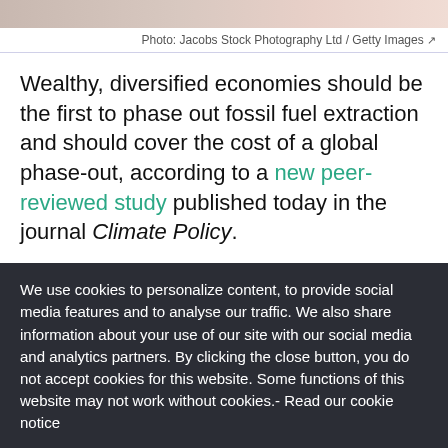[Figure (photo): Top portion of a photo, partially visible at the top of the page]
Photo: Jacobs Stock Photography Ltd / Getty Images ↗
Wealthy, diversified economies should be the first to phase out fossil fuel extraction and should cover the cost of a global phase-out, according to a new peer-reviewed study published today in the journal Climate Policy.
We use cookies to personalize content, to provide social media features and to analyse our traffic. We also share information about your use of our site with our social media and analytics partners. By clicking the close button, you do not accept cookies for this website. Some functions of this website may not work without cookies.- Read our cookie notice